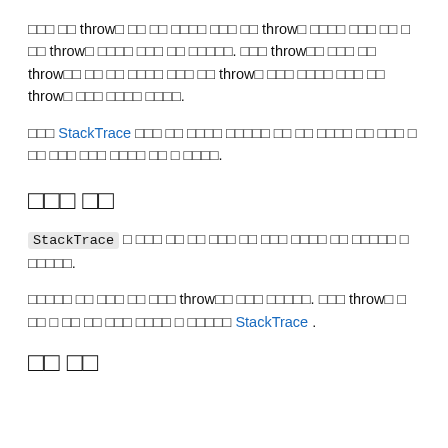□□□ □□ throw□ □□ □□ □□□□ □□□ □□ throw□ □□□□ □□□ □□ □ □□ throw□ □□□□ □□□ □□ □□□□□. □□□ throw□□ □□□ □□ throw□□ □□ □□ □□□□ □□□ □□ throw□ □□□ □□□□ □□□ □□ throw□ □□□ □□□□ □□□□.
□□□ StackTrace □□□ □□ □□□□ □□□□□ □□ □□ □□□□ □□ □□□ □ □□ □□□ □□□ □□□□ □□ □ □□□□.
□□□ □□
StackTrace □ □□□ □□ □□ □□□ □□ □□□ □□□□ □□ □□□□□ □ □□□□□.
□□□□□ □□ □□□ □□ □□□ throw□□ □□□ □□□□□. □□□ throw□ □ □□ □ □□ □□ □□□ □□□□ □ □□□□□ StackTrace .
□□ □□